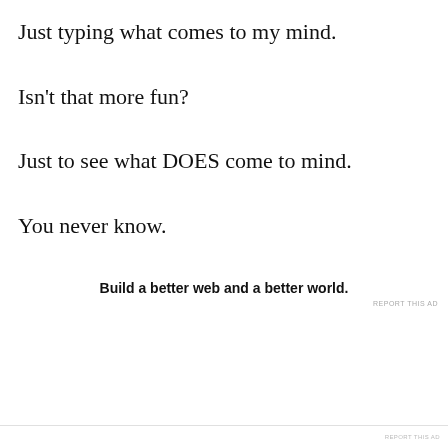Just typing what comes to my mind.
Isn't that more fun?
Just to see what DOES come to mind.
You never know.
Build a better web and a better world.
REPORT THIS AD
Privacy & Cookies: This site uses cookies. By continuing to use this website, you agree to their use.
To find out more, including how to control cookies, see here: Cookie Policy
Close and accept